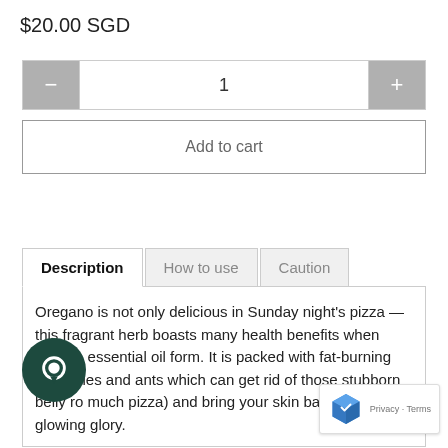$20.00 SGD
[Figure (other): Quantity selector with minus button, input field showing '1', and plus button]
Add to cart
Description | How to use | Caution (tabs)
Oregano is not only delicious in Sunday night's pizza — this fragrant herb boasts many health benefits when used in essential oil form. It is packed with fat-burning properties and ants which can get rid of those stubborn belly ro much pizza) and bring your skin back to its so glowing glory.